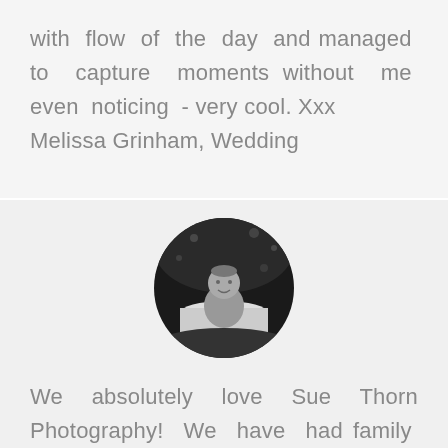with flow of the day and managed to capture moments without me even noticing - very cool. Xxx
Melissa Grinham, Wedding
[Figure (photo): Black and white circular portrait photo of a baby sitting in a white tub outdoors with foliage in the background]
We absolutely love Sue Thorn Photography! We have had family and 1st birthday photos taken by Sue and we love the